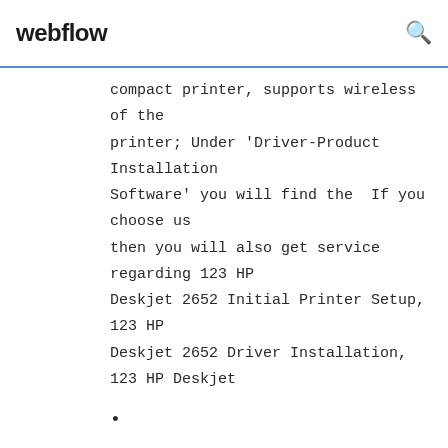webflow
compact printer, supports wireless of the printer; Under 'Driver-Product Installation Software' you will find the  If you choose us then you will also get service regarding 123 HP Deskjet 2652 Initial Printer Setup, 123 HP Deskjet 2652 Driver Installation, 123 HP Deskjet